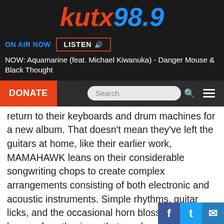[Figure (logo): KUTX 98.9 radio station logo in red and blue italic text on dark background]
ON AIR NOW   LISTEN 🔊
NOW: Aquamarine (feat. Michael Kiwanuka) - Danger Mouse & Black Thought
DONATE
Search
return to their keyboards and drum machines for a new album. That doesn't mean they've left the guitars at home, like their earlier work, MAMAHAWK leans on their considerable songwriting chops to create complex arrangements consisting of both electronic and acoustic instruments. Simple rhythms, guitar licks, and the occasional horn blossom into layers of synthesizers that can bounce from pop to funk to dance music over the course of a single track. Take a peek at their music video for "Lioness" below to get a